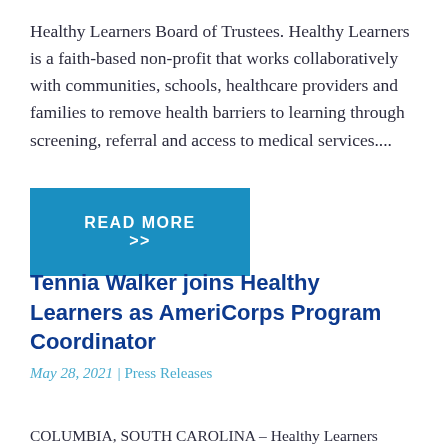Healthy Learners Board of Trustees. Healthy Learners is a faith-based non-profit that works collaboratively with communities, schools, healthcare providers and families to remove health barriers to learning through screening, referral and access to medical services....
READ MORE >>
Tennia Walker joins Healthy Learners as AmeriCorps Program Coordinator
May 28, 2021 | Press Releases
COLUMBIA, SOUTH CAROLINA – Healthy Learners